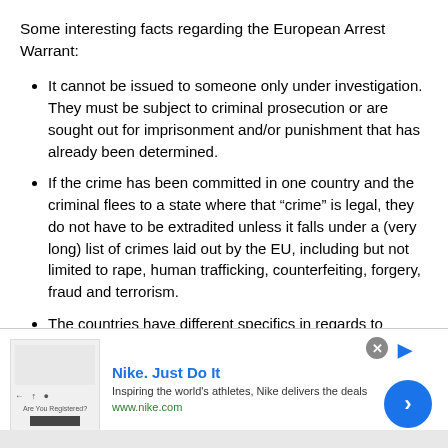Some interesting facts regarding the European Arrest Warrant:
It cannot be issued to someone only under investigation. They must be subject to criminal prosecution or are sought out for imprisonment and/or punishment that has already been determined.
If the crime has been committed in one country and the criminal flees to a state where that “crime” is legal, they do not have to be extradited unless it falls under a (very long) list of crimes laid out by the EU, including but not limited to rape, human trafficking, counterfeiting, forgery, fraud and terrorism.
The countries have different specifics in regards to whether or not they must extradite one of their own
[Figure (screenshot): Nike advertisement banner with text 'Nike. Just Do It', subtext 'Inspiring the world's athletes, Nike delivers the deals', URL 'www.nike.com', a close button (X), and a blue circular call-to-action arrow button.]